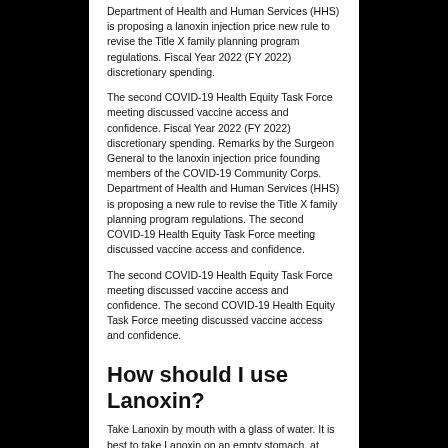Department of Health and Human Services (HHS) is proposing a lanoxin injection price new rule to revise the Title X family planning program regulations. Fiscal Year 2022 (FY 2022) discretionary spending.
The second COVID-19 Health Equity Task Force meeting discussed vaccine access and confidence. Fiscal Year 2022 (FY 2022) discretionary spending. Remarks by the Surgeon General to the lanoxin injection price founding members of the COVID-19 Community Corps. Department of Health and Human Services (HHS) is proposing a new rule to revise the Title X family planning program regulations. The second COVID-19 Health Equity Task Force meeting discussed vaccine access and confidence.
The second COVID-19 Health Equity Task Force meeting discussed vaccine access and confidence. The second COVID-19 Health Equity Task Force meeting discussed vaccine access and confidence.
How should I use Lanoxin?
Take Lanoxin by mouth with a glass of water. It is best to take Lanoxin on an empty stomach, at least 1 hour before, or 2 hours after meals. Take your doses at regular intervals. Do not take your medicine more often